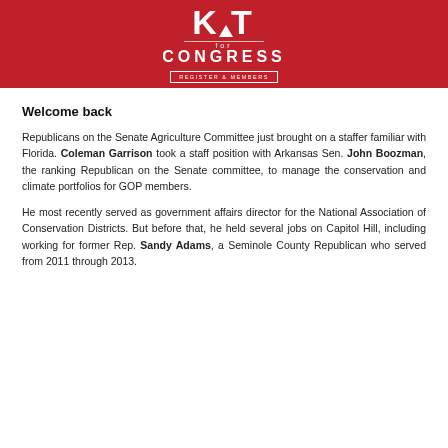[Figure (logo): KAT for Congress logo on red banner background with subscribe button]
Welcome back
Republicans on the Senate Agriculture Committee just brought on a staffer familiar with Florida. Coleman Garrison took a staff position with Arkansas Sen. John Boozman, the ranking Republican on the Senate committee, to manage the conservation and climate portfolios for GOP members.
He most recently served as government affairs director for the National Association of Conservation Districts. But before that, he held several jobs on Capitol Hill, including working for former Rep. Sandy Adams, a Seminole County Republican who served from 2011 through 2013.